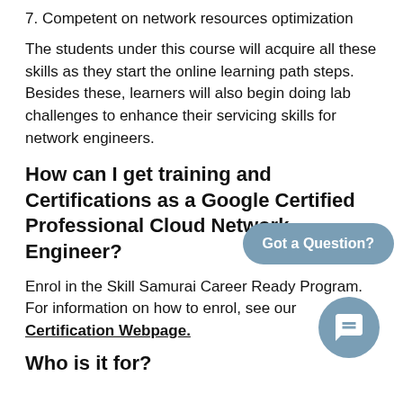7. Competent on network resources optimization
The students under this course will acquire all these skills as they start the online learning path steps. Besides these, learners will also begin doing lab challenges to enhance their servicing skills for network engineers.
How can I get training and Certifications as a Google Certified Professional Cloud Network Engineer?
Enrol in the Skill Samurai Career Ready Program. For information on how to enrol, see our Certification Webpage.
Who is it for?